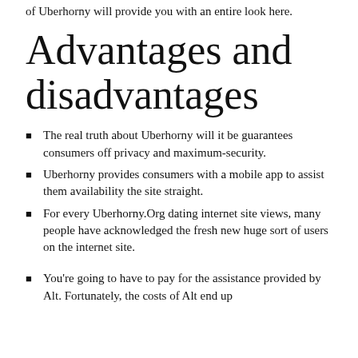of Uberhorny will provide you with an entire look here.
Advantages and disadvantages
The real truth about Uberhorny will it be guarantees consumers off privacy and maximum-security.
Uberhorny provides consumers with a mobile app to assist them availability the site straight.
For every Uberhorny.Org dating internet site views, many people have acknowledged the fresh new huge sort of users on the internet site.
You're going to have to pay for the assistance provided by Alt. Fortunately, the costs of Alt end up